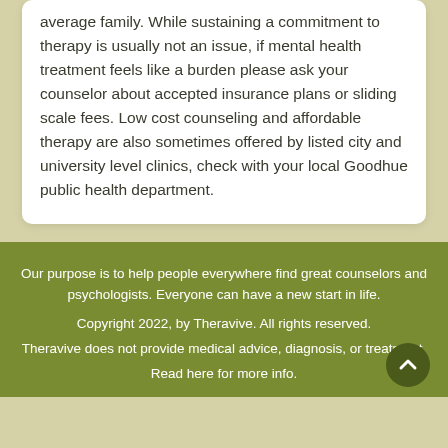average family. While sustaining a commitment to therapy is usually not an issue, if mental health treatment feels like a burden please ask your counselor about accepted insurance plans or sliding scale fees. Low cost counseling and affordable therapy are also sometimes offered by listed city and university level clinics, check with your local Goodhue public health department.
Our purpose is to help people everywhere find great counselors and psychologists. Everyone can have a new start in life.
Copyright 2022, by Theravive. All rights reserved.
Theravive does not provide medical advice, diagnosis, or treatment.
Read here for more info.